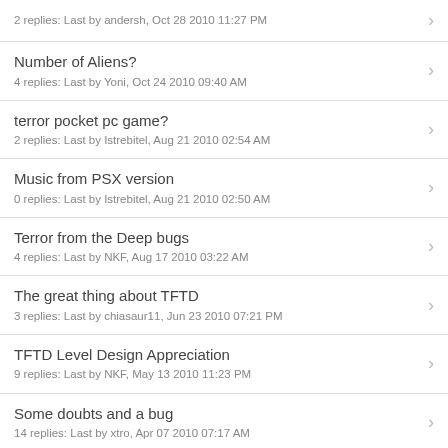2 replies: Last by andersh, Oct 28 2010 11:27 PM
Number of Aliens?
4 replies: Last by Yoni, Oct 24 2010 09:40 AM
terror pocket pc game?
2 replies: Last by Istrebitel, Aug 21 2010 02:54 AM
Music from PSX version
0 replies: Last by Istrebitel, Aug 21 2010 02:50 AM
Terror from the Deep bugs
4 replies: Last by NKF, Aug 17 2010 03:22 AM
The great thing about TFTD
3 replies: Last by chiasaur11, Jun 23 2010 07:21 PM
TFTD Level Design Appreciation
9 replies: Last by NKF, May 13 2010 11:23 PM
Some doubts and a bug
14 replies: Last by xtro, Apr 07 2010 07:17 AM
Circumvention Research Tree bugs
8 replies: Last by dan2, Feb 20 2010 12:48 PM